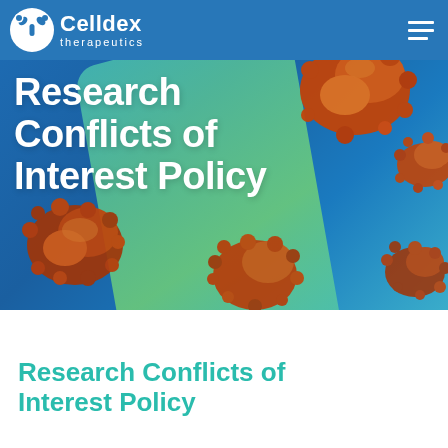[Figure (illustration): Celldex Therapeutics website header. Blue navigation bar with Celldex Therapeutics logo on left and hamburger menu on right. Hero banner with blue gradient background, teal/green diagonal ribbon, orange-brown cancer cell illustrations, and large white bold text reading 'Research Conflicts of Interest Policy'.]
Research Conflicts of Interest Policy